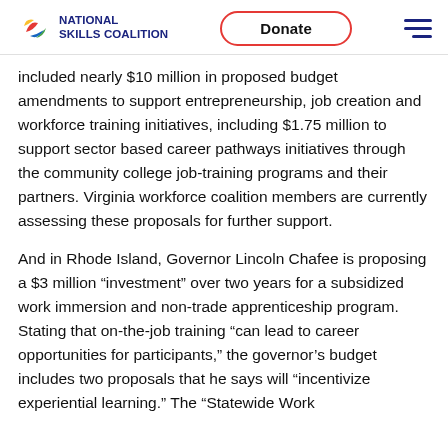National Skills Coalition | Donate | Menu
included nearly $10 million in proposed budget amendments to support entrepreneurship, job creation and workforce training initiatives, including $1.75 million to support sector based career pathways initiatives through the community college job-training programs and their partners. Virginia workforce coalition members are currently assessing these proposals for further support.
And in Rhode Island, Governor Lincoln Chafee is proposing a $3 million “investment” over two years for a subsidized work immersion and non-trade apprenticeship program. Stating that on-the-job training “can lead to career opportunities for participants,” the governor’s budget includes two proposals that he says will “incentivize experiential learning.” The “Statewide Work